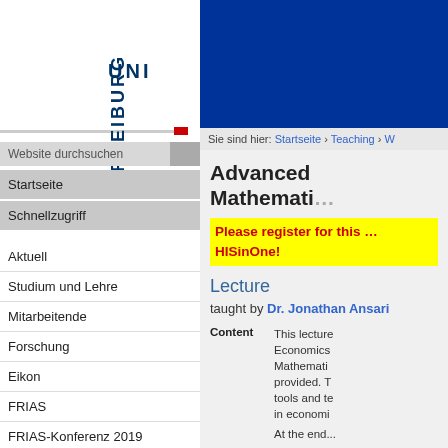[Figure (logo): UNI FREIBURG logo with text in navy blue, vertical layout]
Sie sind hier: Startseite › Teaching › W
Advanced Mathemati...
Please register for this ... HISinOne!
Lecture
taught by Dr. Jonathan Ansari
|  |  |
| --- | --- |
| Content | This lecture... Economics... Mathemati... provided. T... tools and te... in economi... |
|  | At the end... |
Website durchsuchen
Startseite
Schnellzugriff
Aktuell
Studium und Lehre
Mitarbeitende
Forschung
Eikon
FRIAS
FRIAS-Konferenz 2019